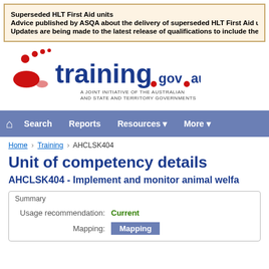Superseded HLT First Aid units
Advice published by ASQA about the delivery of superseded HLT First Aid u...
Updates are being made to the latest release of qualifications to include the...
[Figure (logo): training.gov.au logo - A joint initiative of the Australian and State and Territory Governments]
Home | Search | Reports | Resources | More
Home > Training > AHCLSK404
Unit of competency details
AHCLSK404 - Implement and monitor animal welfa...
|  |  |
| --- | --- |
| Usage recommendation: | Current |
| Mapping: | Mapping |